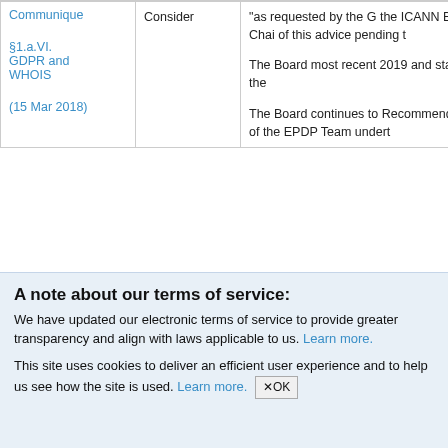|  | Consider |  |
| --- | --- | --- |
| Communique
§1.a.VI.
GDPR and WHOIS
(15 Mar 2018) | Consider | "as requested by the G the ICANN Board Chai of this advice pending t

The Board most recent 2019 and stated in the

The Board continues to Recommendation 3 of the EPDP Team undert |
A note about our terms of service:
We have updated our electronic terms of service to provide greater transparency and align with laws applicable to us. Learn more.
This site uses cookies to deliver an efficient user experience and to help us see how the site is used. Learn more. ✕OK